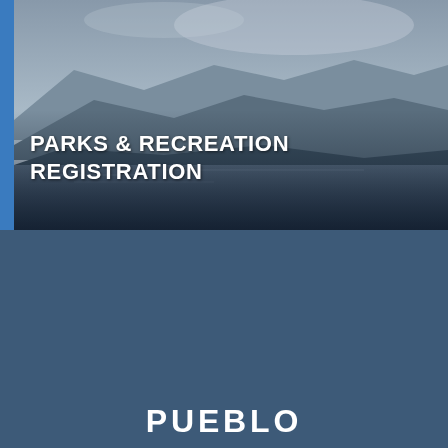[Figure (photo): Aerial/landscape photo of a river and valley at dusk with mountains in the background and a dark overlay]
PARKS & RECREATION REGISTRATION
[Figure (logo): Pueblo city logo: circular emblem with blue sky, green mountains, water, and a bird silhouette in flight]
PUEBLO